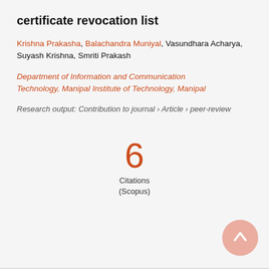certificate revocation list
Krishna Prakasha, Balachandra Muniyal, Vasundhara Acharya, Suyash Krishna, Smriti Prakash
Department of Information and Communication Technology, Manipal Institute of Technology, Manipal
Research output: Contribution to journal › Article › peer-review
6 Citations (Scopus)